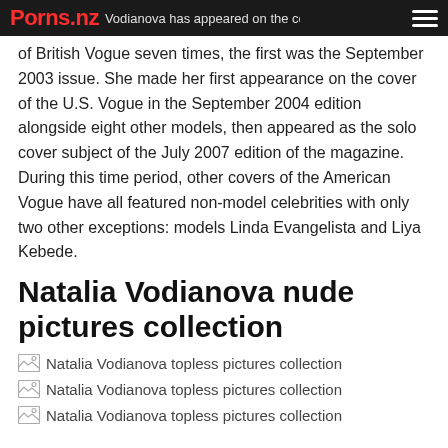Porns.nz — Natalia Vodianova has appeared on the covers of British Vogue seven times...
of British Vogue seven times, the first was the September 2003 issue. She made her first appearance on the cover of the U.S. Vogue in the September 2004 edition alongside eight other models, then appeared as the solo cover subject of the July 2007 edition of the magazine. During this time period, other covers of the American Vogue have all featured non-model celebrities with only two other exceptions: models Linda Evangelista and Liya Kebede.
Natalia Vodianova nude pictures collection
[Figure (photo): Natalia Vodianova topless pictures collection - image placeholder 1]
[Figure (photo): Natalia Vodianova topless pictures collection - image placeholder 2]
[Figure (photo): Natalia Vodianova topless pictures collection - image placeholder 3]